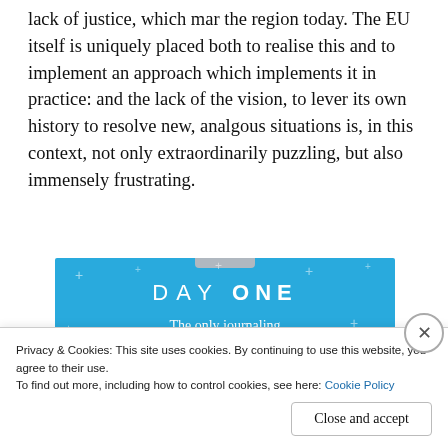lack of justice, which mar the region today. The EU itself is uniquely placed both to realise this and to implement an approach which implements it in practice: and the lack of the vision, to lever its own history to resolve new, analgous situations is, in this context, not only extraordinarily puzzling, but also immensely frustrating.
[Figure (other): Advertisement for DAY ONE journaling app on a light blue background with small cross/star decorations. Text reads 'DAY ONE' in large spaced letters, 'The only journaling app you'll ever need.' and a dark blue 'Get the app' button.]
Privacy & Cookies: This site uses cookies. By continuing to use this website, you agree to their use.
To find out more, including how to control cookies, see here: Cookie Policy
Close and accept